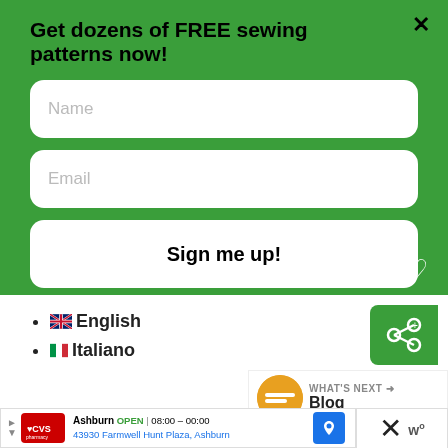Get dozens of FREE sewing patterns now!
Name
Email
Sign me up!
🇬🇧 English
🇮🇹 Italiano
[Figure (screenshot): Share button widget (green rounded rectangle with share icon)]
[Figure (screenshot): What's Next widget showing Blog with thumbnail]
[Figure (screenshot): CVS Pharmacy ad banner: Ashburn OPEN 08:00-00:00, 43930 Farmwell Hunt Plaza, Ashburn]